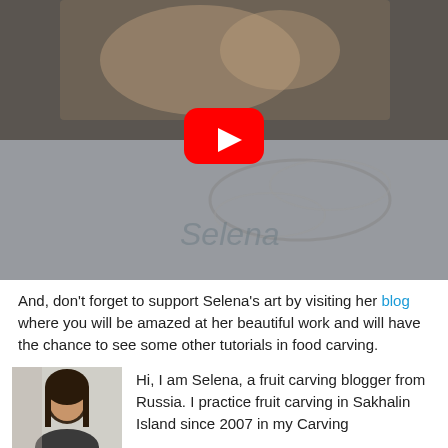[Figure (screenshot): YouTube video thumbnail showing hands carving a decorative pattern into a white surface, with a red YouTube play button overlay in the center.]
And, don't forget to support Selena's art by visiting her blog where you will be amazed at her beautiful work and will have the chance to see some other tutorials in food carving.
[Figure (photo): Portrait photo of Selena, a dark-haired woman, shown from shoulders up.]
Hi, I am Selena, a fruit carving blogger from Russia. I practice fruit carving in Sakhalin Island since 2007 in my Carving